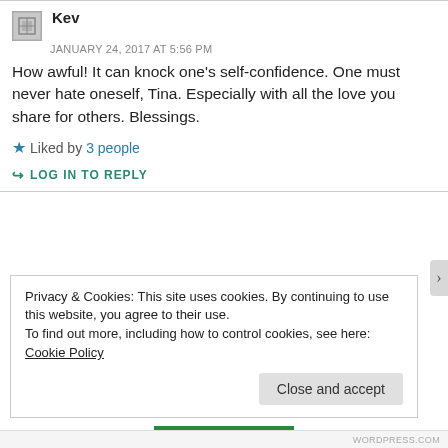Kev
JANUARY 24, 2017 AT 5:56 PM
How awful! It can knock one’s self-confidence. One must never hate oneself, Tina. Especially with all the love you share for others. Blessings.
★ Liked by 3 people
↪ LOG IN TO REPLY
Privacy & Cookies: This site uses cookies. By continuing to use this website, you agree to their use.
To find out more, including how to control cookies, see here: Cookie Policy
Close and accept